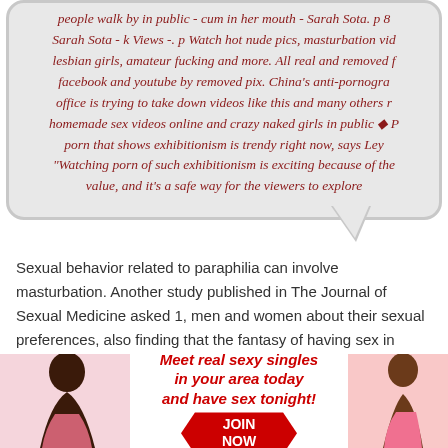people walk by in public - cum in her mouth - Sarah Sota. p 8 Sarah Sota - k Views -. p Watch hot nude pics, masturbation videos, lesbian girls, amateur fucking and more. All real and removed from facebook and youtube by removed pix. China's anti-pornography office is trying to take down videos like this and many others homemade sex videos online and crazy naked girls in public ◆ P porn that shows exhibitionism is trendy right now, says Ley "Watching porn of such exhibitionism is exciting because of the value, and it's a safe way for the viewers to explore
Sexual behavior related to paraphilia can involve masturbation. Another study published in The Journal of Sexual Medicine asked 1, men and women about their sexual preferences, also finding that the fantasy of having sex in public is common.
[Figure (infographic): Advertisement banner with two female figures on left and right sides, red bold italic text in center reading 'Meet real sexy singles in your area today and have sex tonight!' with a red JOIN NOW button shaped like an arrow/chevron.]